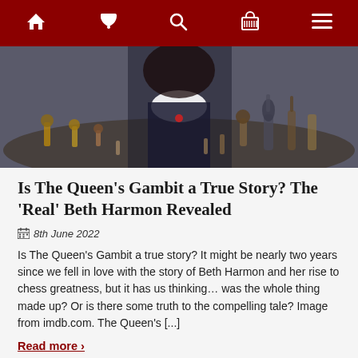Navigation bar with home, phone, search, basket, menu icons
[Figure (photo): A woman seen from above a table covered with chess pieces and bottles; she wears a dark dress with a white collar.]
Is The Queen's Gambit a True Story? The 'Real' Beth Harmon Revealed
8th June 2022
Is The Queen's Gambit a true story? It might be nearly two years since we fell in love with the story of Beth Harmon and her rise to chess greatness, but it has us thinking… was the whole thing made up? Or is there some truth to the compelling tale? Image from imdb.com. The Queen's [...]
Read more ›